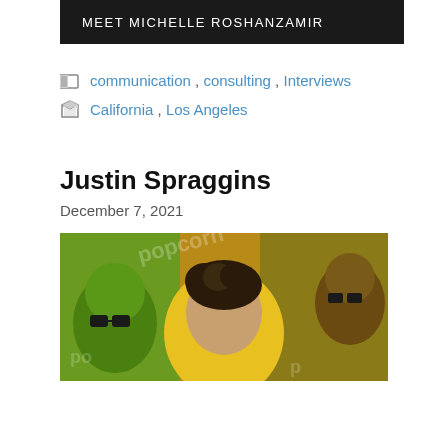MEET MICHELLE ROSHANZAMIR
communication , consulting , Interviews
California , Los Angeles
Justin Spraggins
December 7, 2021
[Figure (photo): Justin Spraggins - photo of a man with dark curly hair against a colorful green and orange animated/cartoon background with popcorn character mascots]